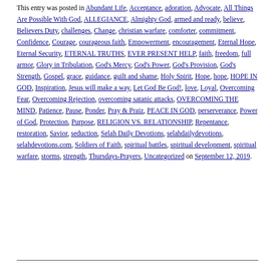This entry was posted in Abundant Life, Acceptance, adoration, Advocate, All Things Are Possible With God, ALLEGIANCE, Almighty God, armed and ready, believe, Believers Duty, challenges, Change, christian warfare, comforter, commitment, Confidence, Courage, courageous faith, Empowerment, encouragement, Eternal Hope, Eternal Security, ETERNAL TRUTHS, EVER PRESENT HELP, faith, freedom, full armor, Glory in Tribulation, God's Mercy, God's Power, God's Provision, God's Strength, Gospel, grace, guidance, guilt and shame, Holy Spirit, Hope, hope, HOPE IN GOD, Inspiration, Jesus will make a way, Let God Be God!, love, Loyal, Overcoming Fear, Overcoming Rejection, overcoming satanic attacks, OVERCOMING THE MIND, Patience, Pause, Ponder, Pray & Praiz, PEACE IN GOD, perserverance, Power of God, Protection, Purpose, RELIGION VS. RELATIONSHIP, Repentance, restoration, Savior, seduction, Selah Daily Devotions, selahdailydevotions, selahdevotions.com, Soldiers of Faith, spiritual battles, spiritual development, spiritual warfare, storms, strength, Thursdays-Prayers, Uncategorized on September 12, 2019.